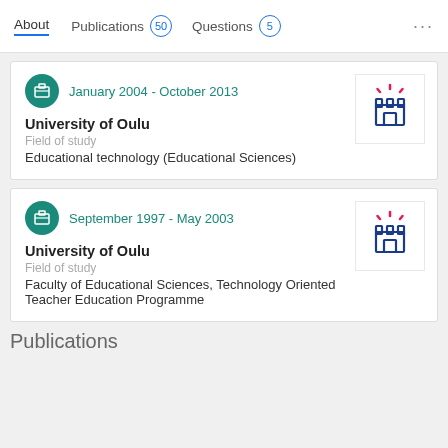About  Publications 50  Questions 5  ...
January 2004 - October 2013
University of Oulu
Field of study
Educational technology (Educational Sciences)
[Figure (logo): University of Oulu logo — castle/tower icon in dark blue with pink rays, on white background]
September 1997 - May 2003
University of Oulu
Field of study
Faculty of Educational Sciences, Technology Oriented Teacher Education Programme
[Figure (logo): University of Oulu logo — castle/tower icon in dark blue with pink rays, on white background]
Publications